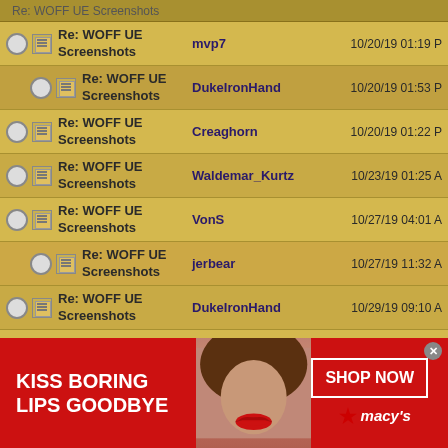|  | Subject | Author | Date |
| --- | --- | --- | --- |
|  | Re: WOFF UE Screenshots | mvp7 | 10/20/19 01:19 P |
| (indented) | Re: WOFF UE Screenshots | DukeIronHand | 10/20/19 01:53 P |
|  | Re: WOFF UE Screenshots | Creaghorn | 10/20/19 01:22 P |
|  | Re: WOFF UE Screenshots | Waldemar_Kurtz | 10/23/19 01:25 A |
|  | Re: WOFF UE Screenshots | VonS | 10/27/19 04:01 A |
| (indented) | Re: WOFF UE Screenshots | jerbear | 10/27/19 11:32 A |
|  | Re: WOFF UE Screenshots | DukeIronHand | 10/29/19 09:10 A |
|  | Re: WOFF UE Screenshots | HarryH | 10/29/19 09:15 P |
|  | Re: WOFF UE Screenshots | DukeIronHand | 10/29/19 10:58 P |
| (indented) | Re: WOFF UE Screenshots | HarryH | 10/30/19 03:45 P |
[Figure (photo): Advertisement banner: Macy's lipstick ad with text 'KISS BORING LIPS GOODBYE' and 'SHOP NOW' button, featuring a woman's face with red lipstick.]